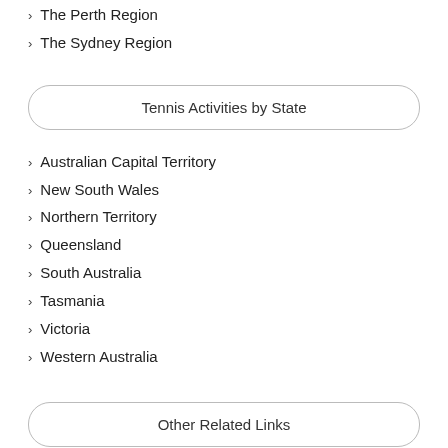The Perth Region
The Sydney Region
Tennis Activities by State
Australian Capital Territory
New South Wales
Northern Territory
Queensland
South Australia
Tasmania
Victoria
Western Australia
Other Related Links
Sport Activities in Australia